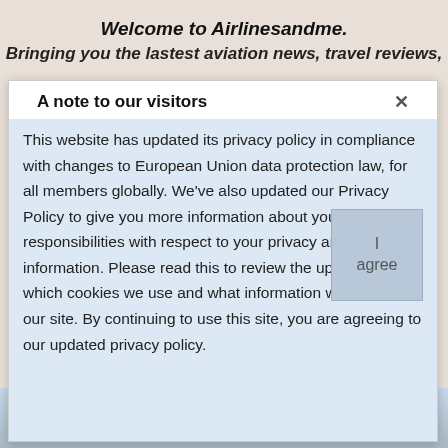Welcome to Airlinesandme.
Bringing you the lastest aviation news, travel reviews, travel deals and more.
A note to our visitors
This website has updated its privacy policy in compliance with changes to European Union data protection law, for all members globally. We've also updated our Privacy Policy to give you more information about your rights and responsibilities with respect to your privacy and personal information. Please read this to review the updates about which cookies we use and what information we collect on our site. By continuing to use this site, you are agreeing to our updated privacy policy.